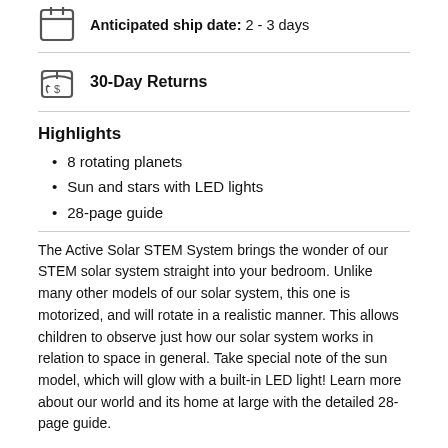Anticipated ship date: 2 - 3 days
30-Day Returns
Highlights
8 rotating planets
Sun and stars with LED lights
28-page guide
The Active Solar STEM System brings the wonder of our STEM solar system straight into your bedroom. Unlike many other models of our solar system, this one is motorized, and will rotate in a realistic manner. This allows children to observe just how our solar system works in relation to space in general. Take special note of the sun model, which will glow with a built-in LED light! Learn more about our world and its home at large with the detailed 28-page guide.